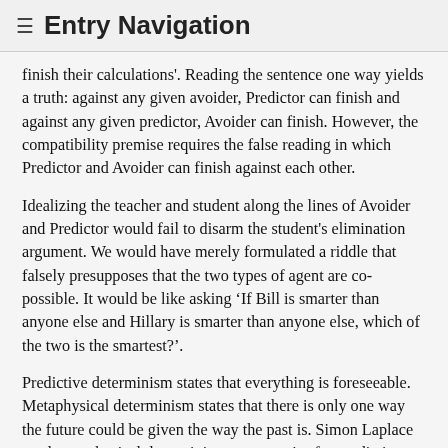≡ Entry Navigation
finish their calculations'. Reading the sentence one way yields a truth: against any given avoider, Predictor can finish and against any given predictor, Avoider can finish. However, the compatibility premise requires the false reading in which Predictor and Avoider can finish against each other.
Idealizing the teacher and student along the lines of Avoider and Predictor would fail to disarm the student's elimination argument. We would have merely formulated a riddle that falsely presupposes that the two types of agent are co-possible. It would be like asking 'If Bill is smarter than anyone else and Hillary is smarter than anyone else, which of the two is the smartest?'.
Predictive determinism states that everything is foreseeable. Metaphysical determinism states that there is only one way the future could be given the way the past is. Simon Laplace used metaphysical determinism as a premise for predictive determinism. He reasoned that since every event has a cause, a complete description of